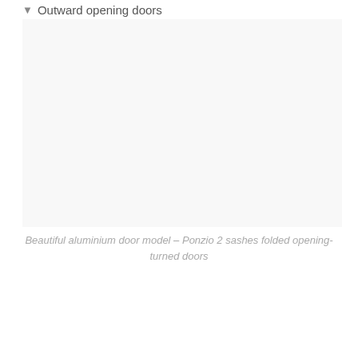♥ Outward opening doors
[Figure (photo): Photo of a beautiful aluminium door model – Ponzio 2 sashes folded opening-turned doors]
Beautiful aluminium door model – Ponzio 2 sashes folded opening-turned doors